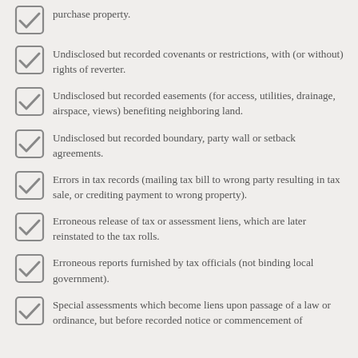purchase property.
Undisclosed but recorded covenants or restrictions, with (or without) rights of reverter.
Undisclosed but recorded easements (for access, utilities, drainage, airspace, views) benefiting neighboring land.
Undisclosed but recorded boundary, party wall or setback agreements.
Errors in tax records (mailing tax bill to wrong party resulting in tax sale, or crediting payment to wrong property).
Erroneous release of tax or assessment liens, which are later reinstated to the tax rolls.
Erroneous reports furnished by tax officials (not binding local government).
Special assessments which become liens upon passage of a law or ordinance, but before recorded notice or commencement of